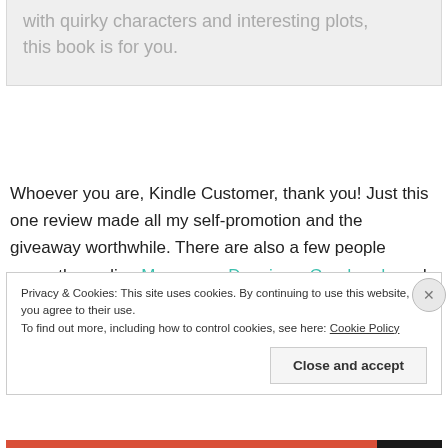with quirky characters and interesting plots, this book is for you.
Whoever you are, Kindle Customer, thank you! Just this one review made all my self-promotion and the giveaway worthwhile. There are also a few people currently reading Mervyn vs. Dennis on Goodreads and
Privacy & Cookies: This site uses cookies. By continuing to use this website, you agree to their use.
To find out more, including how to control cookies, see here: Cookie Policy
Close and accept